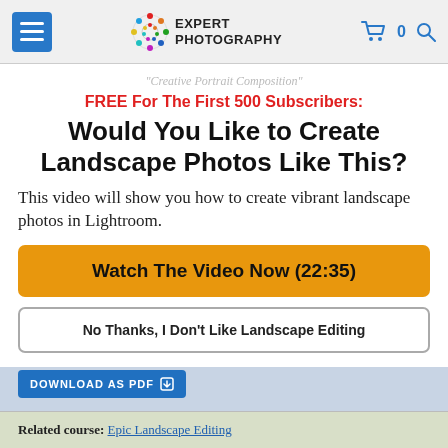Expert Photography
FREE For The First 500 Subscribers:
Would You Like to Create Landscape Photos Like This?
This video will show you how to create vibrant landscape photos in Lightroom.
Watch The Video Now (22:35)
No Thanks, I Don't Like Landscape Editing
DOWNLOAD AS PDF
Related course: Epic Landscape Editing